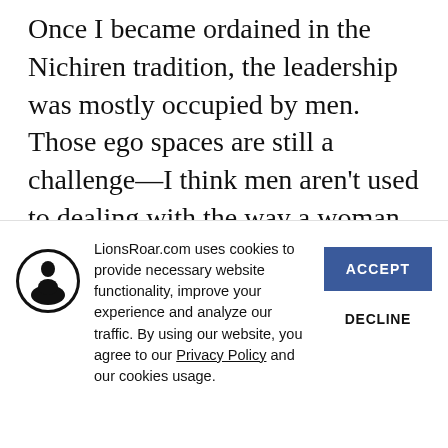Once I became ordained in the Nichiren tradition, the leadership was mostly occupied by men. Those ego spaces are still a challenge—I think men aren't used to dealing with the way a woman does leadership versus how a man does leadership. They don't like the approach I'm taking; they think I should be more aggressive. I have learned t…
[Figure (other): Cookie consent overlay with LionsRoar.com logo icon (silhouette of seated Buddha figure in circle), cookie notice text, Accept button, and Decline button.]